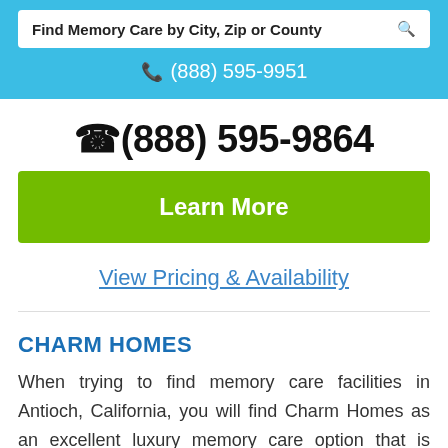Find Memory Care by City, Zip or County
(888) 595-9951
(888) 595-9864
Learn More
View Pricing & Availability
CHARM HOMES
When trying to find memory care facilities in Antioch, California, you will find Charm Homes as an excellent luxury memory care option that is situated at 5008 Deer Spring Court in the 94531 zip code